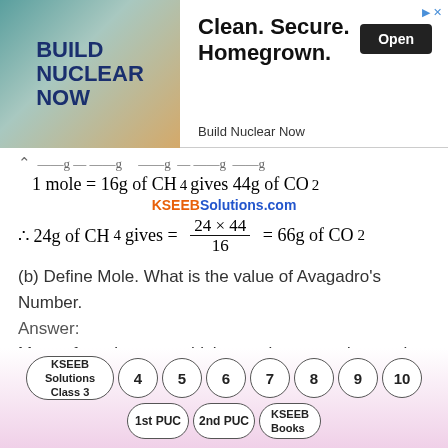[Figure (other): Advertisement banner for 'Build Nuclear Now' with text 'Clean. Secure. Homegrown.' and an Open button]
1 mole = 16g of CH4 gives 44g of CO2
KSEEBSolutions.com
(b) Define Mole. What is the value of Avagadro's Number.
Answer:
Mass of a substance which contains avogadro number of particles.
Avogadro number = 6.023 x 10²³
[Figure (other): Navigation circles: KSEEB Solutions Class 3, 4, 5, 6, 7, 8, 9, 10, 1st PUC, 2nd PUC, KSEEB Books]